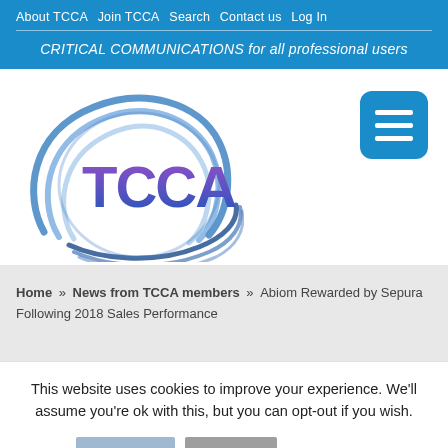About TCCA  Join TCCA  Search  Contact us  Log In
CRITICAL COMMUNICATIONS for all professional users
[Figure (logo): TCCA logo with swirl graphic and purple/blue TCCA text]
[Figure (other): Hamburger menu button (three horizontal white lines on blue rounded square background)]
Home » News from TCCA members » Abiom Rewarded by Sepura Following 2018 Sales Performance
This website uses cookies to improve your experience. We'll assume you're ok with this, but you can opt-out if you wish.
Accept   Reject   Read More